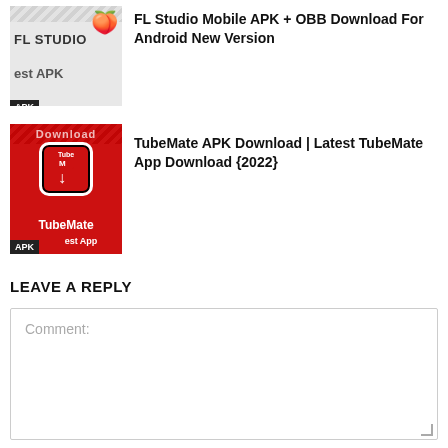[Figure (screenshot): FL Studio Mobile APK thumbnail with FL STUDIO text and fruit logo icon, APK badge]
FL Studio Mobile APK + OBB Download For Android New Version
[Figure (screenshot): TubeMate app thumbnail with red background, TubeMate icon and text, APK badge, Download text at top]
TubeMate APK Download | Latest TubeMate App Download {2022}
LEAVE A REPLY
Comment: